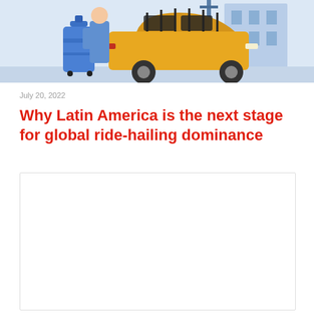[Figure (illustration): Illustration of a ride-hailing scene with a yellow car, a person with blue luggage, and a building in the background.]
July 20, 2022
Why Latin America is the next stage for global ride-hailing dominance
[Figure (other): Empty white content box with border, likely placeholder for embedded content or image.]